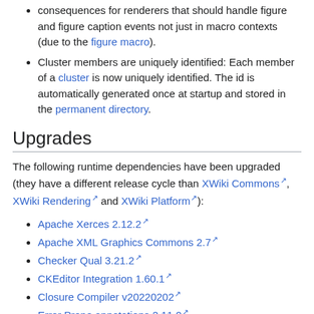consequences for renderers that should handle figure and figure caption events not just in macro contexts (due to the figure macro).
Cluster members are uniquely identified: Each member of a cluster is now uniquely identified. The id is automatically generated once at startup and stored in the permanent directory.
Upgrades
The following runtime dependencies have been upgraded (they have a different release cycle than XWiki Commons, XWiki Rendering and XWiki Platform):
Apache Xerces 2.12.2
Apache XML Graphics Commons 2.7
Checker Qual 3.21.2
CKEditor Integration 1.60.1
Closure Compiler v20220202
Error Prone annotations 2.11.0
Hibernate 5.6.5
HSQLDB 2.6.1
Infinispan 13.0.6.Final